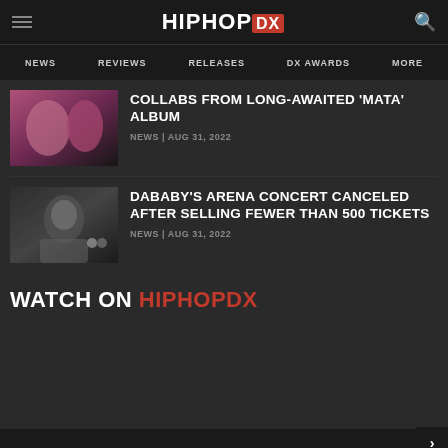HIPHOPDX
NEWS | REVIEWS | RELEASES | DX AWARDS | MORE
COLLABS FROM LONG-AWAITED 'MATA' ALBUM
NEWS | AUG 31, 2022
DABABY'S ARENA CONCERT CANCELED AFTER SELLING FEWER THAN 500 TICKETS
NEWS | AUG 31, 2022
WATCH ON HIPHOPDX
DX CO... 1 Reade...